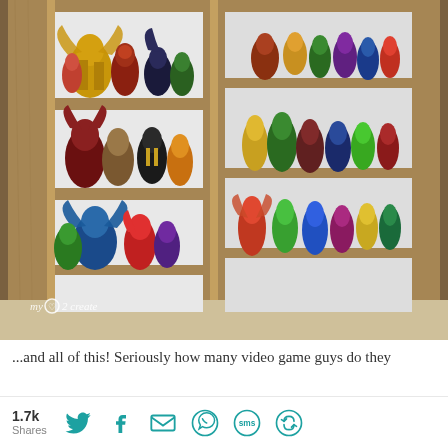[Figure (photo): A wooden display cabinet/shelf unit filled with colorful video game figurines (Skylanders and Disney Infinity characters) arranged on multiple shelves. The cabinet has a wood frame with white interior shelving. Two columns of shelves are visible. Photo has a watermark 'my love 2 create' in the lower left corner.]
...and all of this!  Seriously how many video game guys do they
1.7k Shares